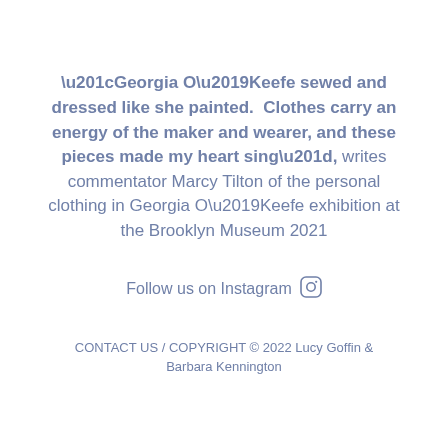“Georgia O’Keefe sewed and dressed like she painted.  Clothes carry an energy of the maker and wearer, and these pieces made my heart sing”, writes commentator Marcy Tilton of the personal clothing in Georgia O’Keefe exhibition at the Brooklyn Museum 2021
Follow us on Instagram
CONTACT US / COPYRIGHT © 2022 Lucy Goffin & Barbara Kennington